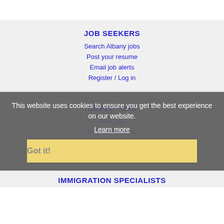JOB SEEKERS
Search Albany jobs
Post your resume
Email job alerts
Register / Log in
EMPLOYERS
This website uses cookies to ensure you get the best experience on our website.
Learn more
Post jobs
Search resumes
Email resume alerts
Advertise
Got it!
IMMIGRATION SPECIALISTS